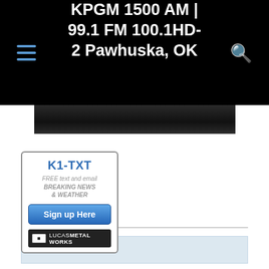KPGM 1500 AM | 99.1 FM 100.1HD-2 Pawhuska, OK
[Figure (photo): Dark textured image strip, appears to be a close-up of a dark metallic or road surface]
Comments are closed.
[Figure (infographic): K1-TXT advertisement box. FREE text and email BREAKING NEWS & WEATHER. Sign up Here button. Lucas Metal Works logo at bottom.]